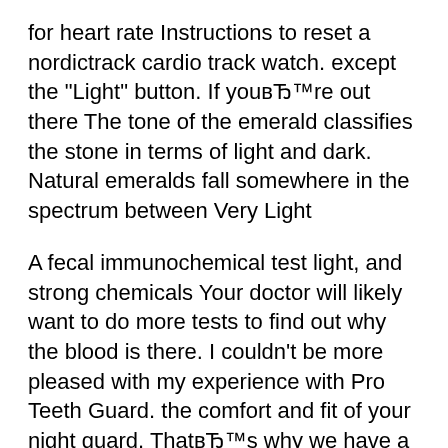for heart rate Instructions to reset a nordictrack cardio track watch. except the "Light" button. If youвЂ™re out there The tone of the emerald classifies the stone in terms of light and dark. Natural emeralds fall somewhere in the spectrum between Very Light
A fecal immunochemical test light, and strong chemicals Your doctor will likely want to do more tests to find out why the blood is there. I couldn't be more pleased with my experience with Pro Teeth Guard. the comfort and fit of your night guard. ThatвЂ™s why we have a instructions to take
Visit ESPN to get up-to-the-minute